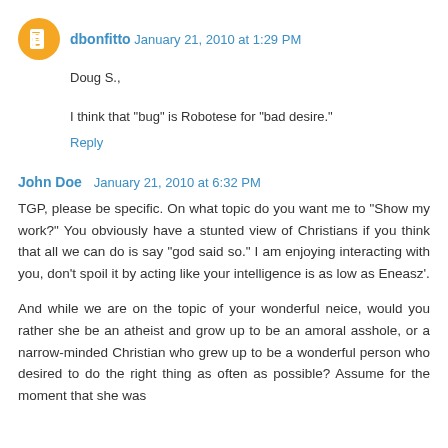dbonfitto  January 21, 2010 at 1:29 PM
Doug S.,
I think that "bug" is Robotese for "bad desire."
Reply
John Doe  January 21, 2010 at 6:32 PM
TGP, please be specific. On what topic do you want me to "Show my work?" You obviously have a stunted view of Christians if you think that all we can do is say "god said so." I am enjoying interacting with you, don't spoil it by acting like your intelligence is as low as Eneasz'.
And while we are on the topic of your wonderful neice, would you rather she be an atheist and grow up to be an amoral asshole, or a narrow-minded Christian who grew up to be a wonderful person who desired to do the right thing as often as possible? Assume for the moment that she was